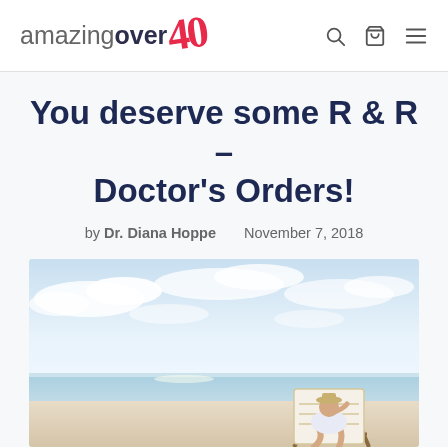amazingover40
You deserve some R & R – Doctor's Orders!
by Dr. Diana Hoppe   November 7, 2018
[Figure (photo): Woman relaxing in a beach chair on a sunny beach with ocean and blue sky with clouds in the background]